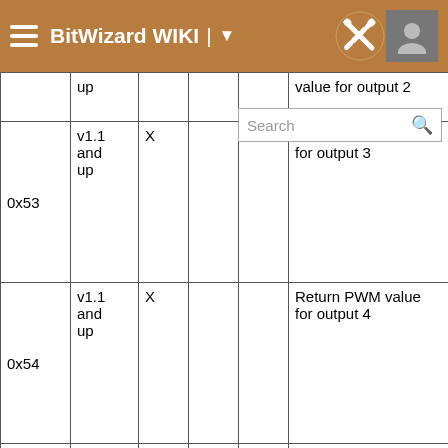BitWizard WIKI
|  |  |  |  |  |  |
| --- | --- | --- | --- | --- | --- |
|  | up |  |  |  | value for output 2 |
| 0x53 | v1.1 and up | X |  |  | Return PWM value for output 3 |
| 0x54 | v1.1 and up | X |  |  | Return PWM value for output 4 |
| 0x55 | v1.1 and up | X |  |  | Return PWM value for output 5 |
| 0x56 | v1.1 and up | X |  |  | Return PWM value for output 6 |
| 0x5f | v1.1 and | X |  |  | Return PWM mask. PWM is enabled on the outputs, who's bit |